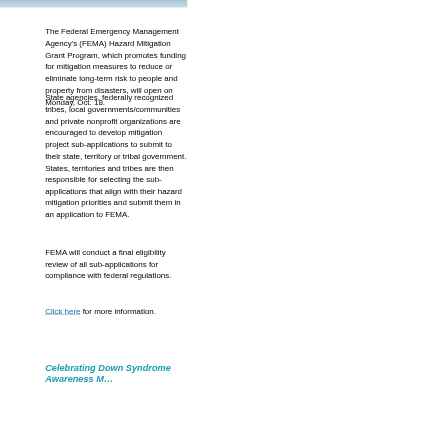[Figure (photo): Decorative banner image at top of page]
The Federal Emergency Management Agency's (FEMA) Hazard Mitigation Grant Program, which promotes funding for mitigation measures to reduce or eliminate long-term risk to people and property from disasters, will open on Monday, Oct. 18.
State agencies, federally recognized tribes, local governments/communities and private nonprofit organizations are encouraged to develop mitigation project sub-applications to submit to their state, territory or tribal government. States, territories and tribes are then responsible for selecting the sub-applications that align with their hazard mitigation priorities and submit them in an application to FEMA.
FEMA will conduct a final eligibility review of all sub-applications for compliance with federal regulations.
Click here for more information.
Celebrating Down Syndrome Awareness M…